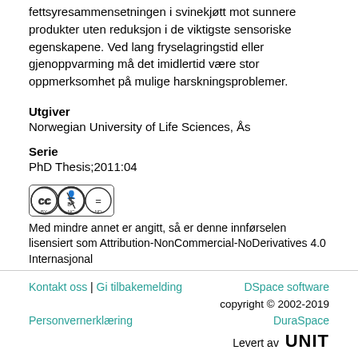fettsyresammensetningen i svinekjøtt mot sunnere produkter uten reduksjon i de viktigste sensoriske egenskapene. Ved lang fryselagringstid eller gjenoppvarming må det imidlertid være stor oppmerksomhet på mulige harskningsproblemer.
Utgiver
Norwegian University of Life Sciences, Ås
Serie
PhD Thesis;2011:04
[Figure (logo): Creative Commons BY NC ND license badge]
Med mindre annet er angitt, så er denne innførselen lisensiert som Attribution-NonCommercial-NoDerivatives 4.0 Internasjonal
Kontakt oss | Gi tilbakemelding   DSpace software copyright © 2002-2019   Personvernerklæring   DuraSpace   Levert av UNIT